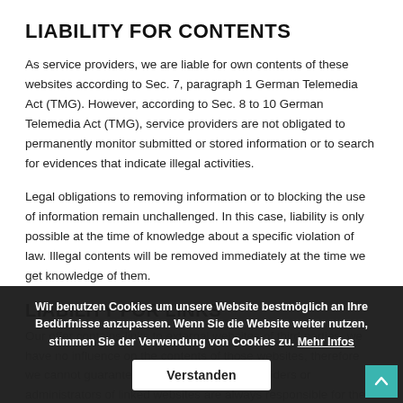LIABILITY FOR CONTENTS
As service providers, we are liable for own contents of these websites according to Sec. 7, paragraph 1 German Telemedia Act (TMG). However, according to Sec. 8 to 10 German Telemedia Act (TMG), service providers are not obligated to permanently monitor submitted or stored information or to search for evidences that indicate illegal activities.
Legal obligations to removing information or to blocking the use of information remain unchallenged. In this case, liability is only possible at the time of knowledge about a specific violation of law. Illegal contents will be removed immediately at the time we get knowledge of them.
LIABILITY FOR LINKS
Our offer contains links to external websites of third parties, we have no influence on the contents of those websites, therefore we cannot guarantee for those contents. Providers or administrators of linked websites are always responsible for their own contents.
Wir benutzen Cookies um unsere Website bestmöglich an Ihre Bedürfnisse anzupassen. Wenn Sie die Website weiter nutzen, stimmen Sie der Verwendung von Cookies zu. Mehr Infos
Verstanden